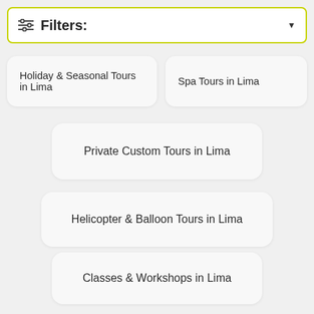Filters:
Holiday & Seasonal Tours in Lima
Spa Tours in Lima
Private Custom Tours in Lima
Helicopter & Balloon Tours in Lima
Classes & Workshops in Lima
Shopping & Fashion Tours in Lima